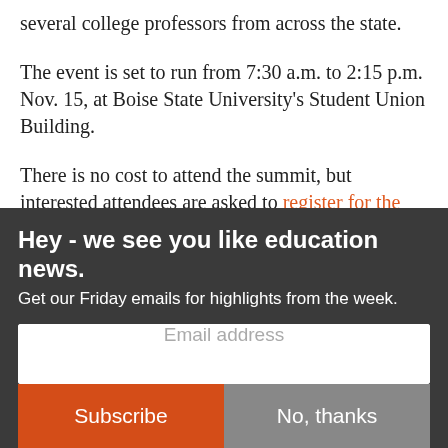several college professors from across the state.
The event is set to run from 7:30 a.m. to 2:15 p.m. Nov. 15, at Boise State University’s Student Union Building.
There is no cost to attend the summit, but interested attendees are asked to register for the event online.
Disclosure: One of the event’s sponsors, Don’t Fail
Hey - we see you like education news.
Get our Friday emails for highlights from the week.
Email address
Subscribe
No, thanks